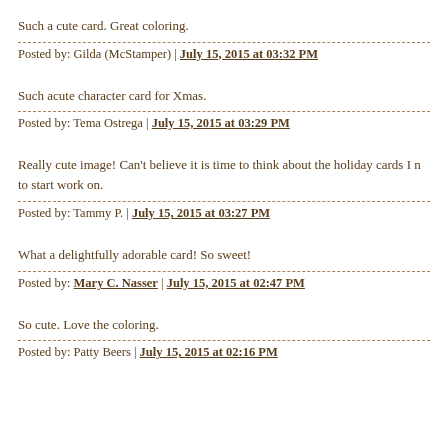Such a cute card. Great coloring.
Posted by: Gilda (McStamper) | July 15, 2015 at 03:32 PM
Such acute character card for Xmas.
Posted by: Tema Ostrega | July 15, 2015 at 03:29 PM
Really cute image! Can't believe it is time to think about the holiday cards I need to start work on.
Posted by: Tammy P. | July 15, 2015 at 03:27 PM
What a delightfully adorable card! So sweet!
Posted by: Mary C. Nasser | July 15, 2015 at 02:47 PM
So cute. Love the coloring.
Posted by: Patty Beers | July 15, 2015 at 02:16 PM